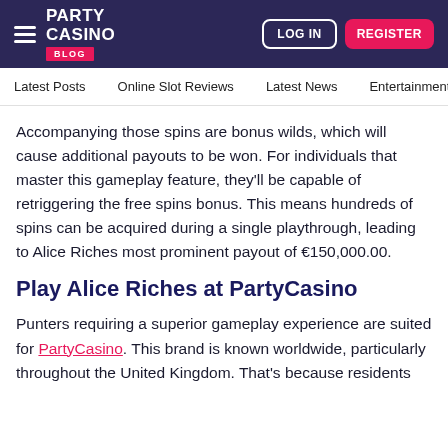PARTY CASINO BLOG | LOG IN | REGISTER
Latest Posts  Online Slot Reviews  Latest News  Entertainment  Ta
Accompanying those spins are bonus wilds, which will cause additional payouts to be won. For individuals that master this gameplay feature, they'll be capable of retriggering the free spins bonus. This means hundreds of spins can be acquired during a single playthrough, leading to Alice Riches most prominent payout of €150,000.00.
Play Alice Riches at PartyCasino
Punters requiring a superior gameplay experience are suited for PartyCasino. This brand is known worldwide, particularly throughout the United Kingdom. That's because residents